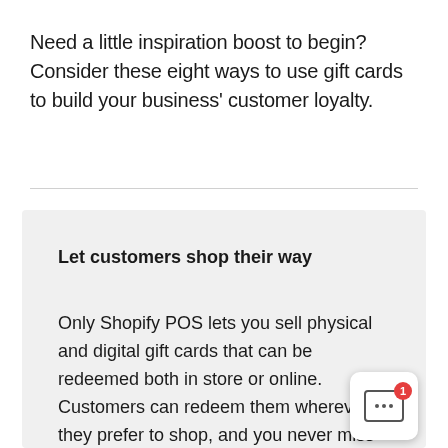Need a little inspiration boost to begin? Consider these eight ways to use gift cards to build your business' customer loyalty.
Let customers shop their way
Only Shopify POS lets you sell physical and digital gift cards that can be redeemed both in store or online. Customers can redeem them wherever they prefer to shop, and you never miss out on a sale.